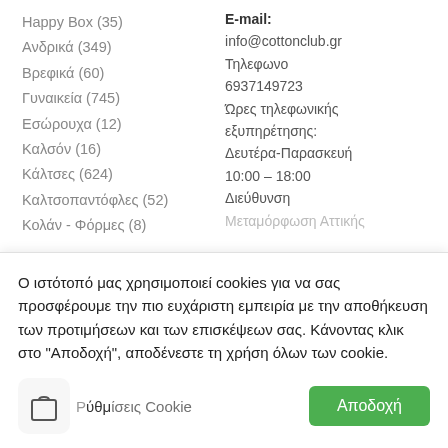Happy Box (35)
Ανδρικά (349)
Βρεφικά (60)
Γυναικεία (745)
Εσώρουχα (12)
Καλσόν (16)
Κάλτσες (624)
Καλτσοπαντόφλες (52)
Κολάν - Φόρμες (8)
E-mail:
info@cottonclub.gr
Τηλεφωνο
6937149723
Ώρες τηλεφωνικής εξυπηρέτησης:
Δευτέρα-Παρασκευή
10:00 – 18:00
Διεύθυνση
Μεταμόρφωση Αττικής
Ο ιστότοπό μας χρησιμοποιεί cookies για να σας προσφέρουμε την πιο ευχάριστη εμπειρία με την αποθήκευση των προτιμήσεων και των επισκέψεων σας. Κάνοντας κλικ στο "Αποδοχή", αποδένεστε τη χρήση όλων των cookie.